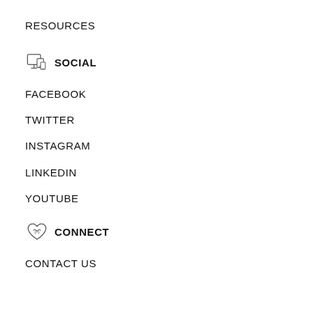RESOURCES
SOCIAL
FACEBOOK
TWITTER
INSTAGRAM
LINKEDIN
YOUTUBE
CONNECT
CONTACT US